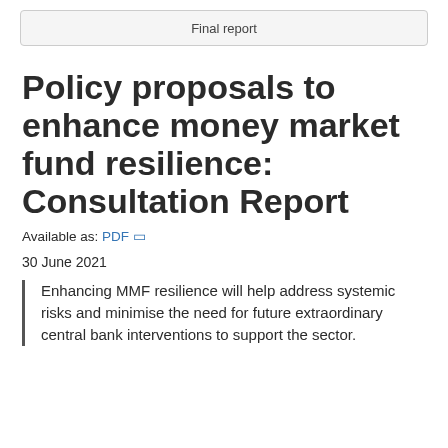Final report
Policy proposals to enhance money market fund resilience: Consultation Report
Available as: PDF 🔗
30 June 2021
Enhancing MMF resilience will help address systemic risks and minimise the need for future extraordinary central bank interventions to support the sector.